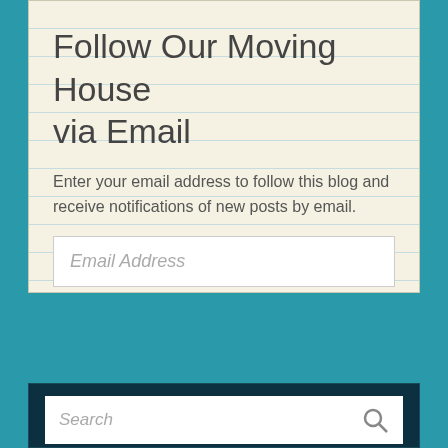Follow Our Moving House via Email
Enter your email address to follow this blog and receive notifications of new posts by email.
[Figure (screenshot): Email address input field with placeholder text 'Email Address']
[Figure (screenshot): Button labeled 'SIGN ME UP!']
Join 798 other followers
[Figure (screenshot): Search bar at bottom with placeholder text 'Search' and a search icon]